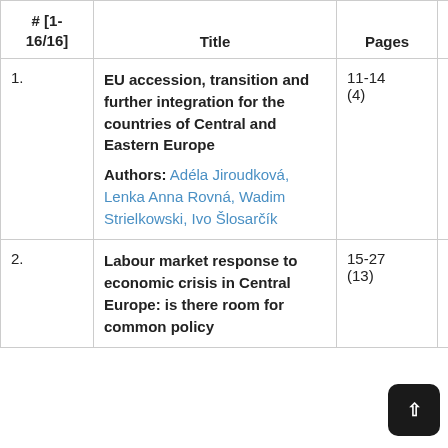| # [1-16/16] | Title | Pages |  |
| --- | --- | --- | --- |
| 1. | EU accession, transition and further integration for the countries of Central and Eastern Europe
Authors: Adéla Jiroudková, Lenka Anna Rovná, Wadim Strielkowski, Ivo Šlosarčík | 11-14 (4) | › |
| 2. | Labour market response to economic crisis in Central Europe: is there room for common policy… | 15-27 (13) | › |